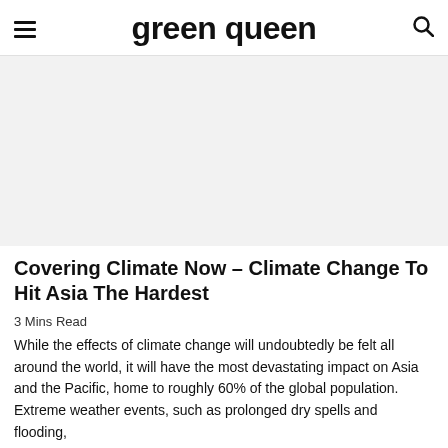green queen
[Figure (photo): Large hero image placeholder with light gray background, likely a climate or nature related photograph]
Covering Climate Now – Climate Change To Hit Asia The Hardest
3 Mins Read
While the effects of climate change will undoubtedly be felt all around the world, it will have the most devastating impact on Asia and the Pacific, home to roughly 60% of the global population. Extreme weather events, such as prolonged dry spells and flooding, are also rising and before global warming can be stopped [...]